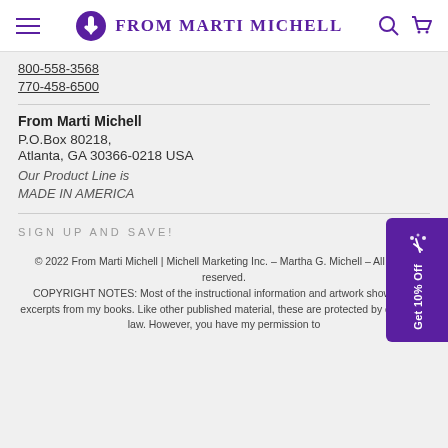From Marti Michell
800-558-3568
770-458-6500
From Marti Michell
P.O.Box 80218,
Atlanta, GA 30366-0218 USA
Our Product Line is MADE IN AMERICA
SIGN UP AND SAVE!
© 2022 From Marti Michell | Michell Marketing Inc. – Martha G. Michell – All rights reserved. COPYRIGHT NOTES: Most of the instructional information and artwork shown are excerpts from my books. Like other published material, these are protected by copyright law. However, you have my permission to